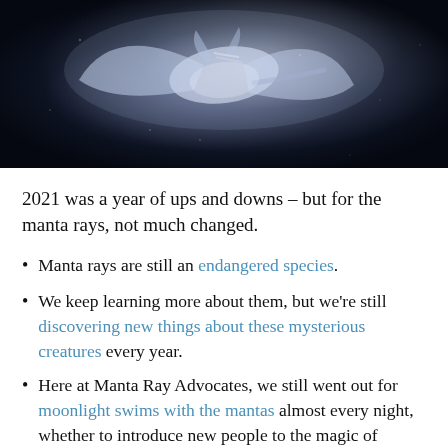[Figure (photo): Underwater photograph of a manta ray gliding through dark water, viewed from below/side. The ray's body shows light and dark contrasts against a nearly black background.]
2021 was a year of ups and downs – but for the manta rays, not much changed.
Manta rays are still an endangered species.
We keep learning more about them, but we're still discovering new things about these mysterious creatures every year.
Here at Manta Ray Advocates, we still went out for moonlight swims with the mantas almost every night, whether to introduce new people to the magic of mantas